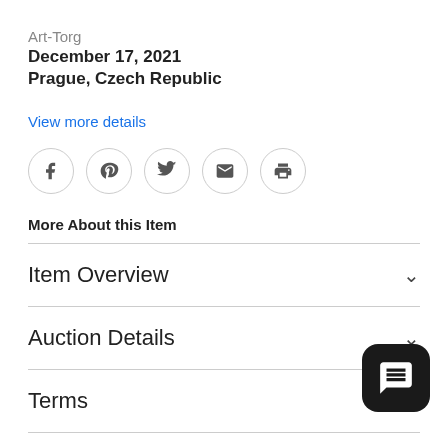Art-Torg
December 17, 2021
Prague, Czech Republic
View more details
[Figure (infographic): Row of five circular social sharing icons: Facebook (f), Pinterest (p), Twitter bird, Email (envelope), Print (printer)]
More About this Item
Item Overview
Auction Details
Terms
Payment & Shipping
[Figure (other): Dark rounded square chat/message button in the bottom right corner]